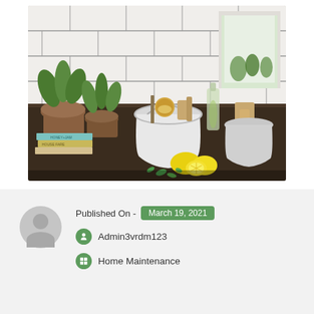[Figure (photo): Kitchen counter scene with white subway tile wall, potted herbs, white metal cleaning bucket with brushes and cleaning supplies, lemons, and green plants by a window]
Published On - March 19, 2021
Admin3vrdm123
Home Maintenance